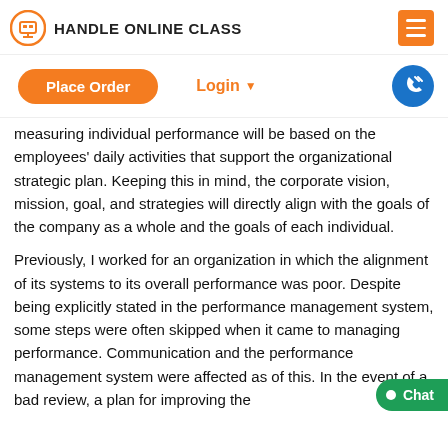HANDLE ONLINE CLASS
Place Order
Login
measuring individual performance will be based on the employees' daily activities that support the organizational strategic plan. Keeping this in mind, the corporate vision, mission, goal, and strategies will directly align with the goals of the company as a whole and the goals of each individual.
Previously, I worked for an organization in which the alignment of its systems to its overall performance was poor. Despite being explicitly stated in the performance management system, some steps were often skipped when it came to managing performance. Communication and the performance management system were affected as of this. In the event of a bad review, a plan for improving the